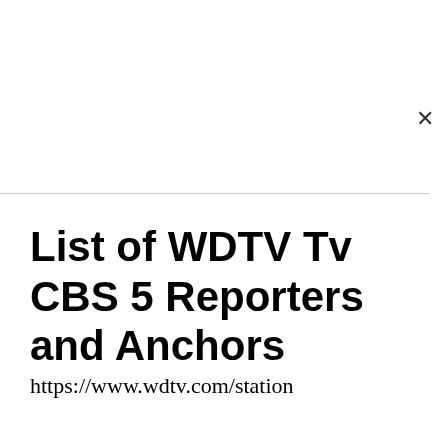List of WDTV Tv CBS 5 Reporters and Anchors
https://www.wdtv.com/station